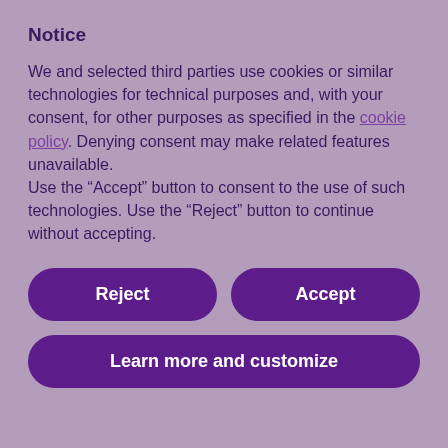Notice
We and selected third parties use cookies or similar technologies for technical purposes and, with your consent, for other purposes as specified in the cookie policy. Denying consent may make related features unavailable.
Use the “Accept” button to consent to the use of such technologies. Use the “Reject” button to continue without accepting.
Reject
Accept
Learn more and customize
and the number of women chairing a subcommittee has risen from eight to 12, out of a total of 24. Internally, the parliament appears more proactive in its strive for gender equality.
Earlier this year, MEPs in a resolution demanded a gender-balanced composition of the bodies governing the